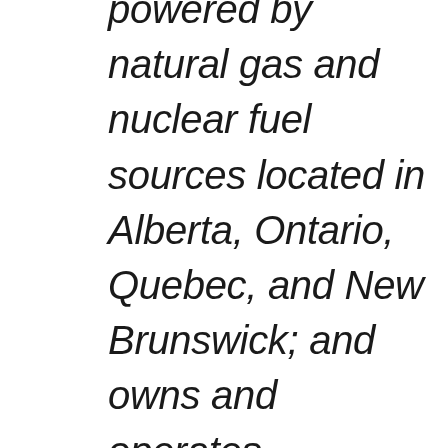powered by natural gas and nuclear fuel sources located in Alberta, Ontario, Quebec, and New Brunswick; and owns and operates approximately 118 billion cubic feet of non-regulated natural gas storage capacity.